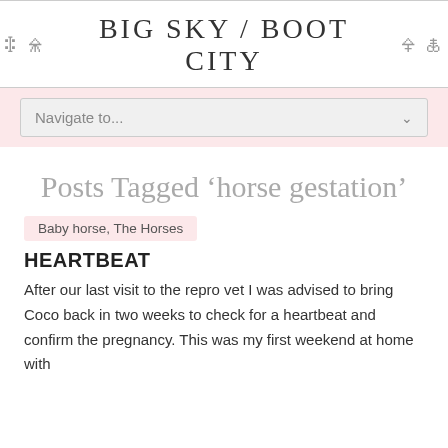BIG SKY / BOOT CITY
[Figure (screenshot): Navigation dropdown selector with 'Navigate to...' placeholder text and a chevron arrow on the right, inside a pink background bar.]
Posts Tagged ‘horse gestation’
Baby horse, The Horses
HEARTBEAT
After our last visit to the repro vet I was advised to bring Coco back in two weeks to check for a heartbeat and confirm the pregnancy. This was my first weekend at home with